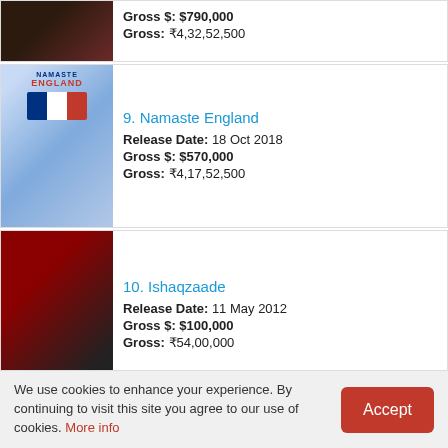[Figure (photo): Partial movie poster for Aurangzeb with dark tone]
Gross $: $790,000
Gross: ₹4,32,52,500
[Figure (photo): Movie poster for Namaste England showing couple with UK flag]
9. Namaste England
Release Date: 18 Oct 2018
Gross $: $570,000
Gross: ₹4,17,52,500
[Figure (photo): Movie poster for Ishaqzaade showing couple in red dramatic pose]
10. Ishaqzaade
Release Date: 11 May 2012
Gross $: $100,000
Gross: ₹54,00,000
[Figure (photo): Movie poster for Sandeep Aur Pinky Faraar]
11. Sandeep Aur Pinky Faraar
Release Date: 19 Mar 2021
Gross $: $25,000
Gross: ₹18,12,500
We use cookies to enhance your experience. By continuing to visit this site you agree to our use of cookies. More info